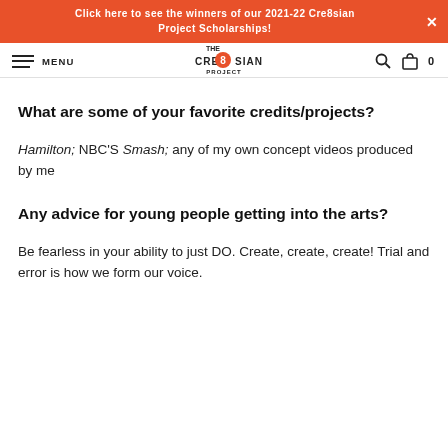Click here to see the winners of our 2021-22 Cre8sian Project Scholarships!
[Figure (logo): The Cre8sian Project logo in navbar]
What are some of your favorite credits/projects?
Hamilton; NBC'S Smash; any of my own concept videos produced by me
Any advice for young people getting into the arts?
Be fearless in your ability to just DO. Create, create, create! Trial and error is how we form our voice.